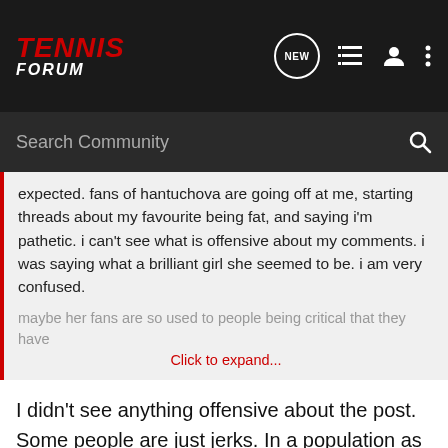TENNIS FORUM
Search Community
expected. fans of hantuchova are going off at me, starting threads about my favourite being fat, and saying i'm pathetic. i can't see what is offensive about my comments. i was saying what a brilliant girl she seemed to be. i am very confused.
maybe her fans are so used to people being critical that they have
Click to expand...
I didn't see anything offensive about the post. Some people are just jerks. In a population as large as the one here, it's expected. So chill out. Chalk it up to their foolishness. 🙂
I've had some good days,
I've had some hills to climb.